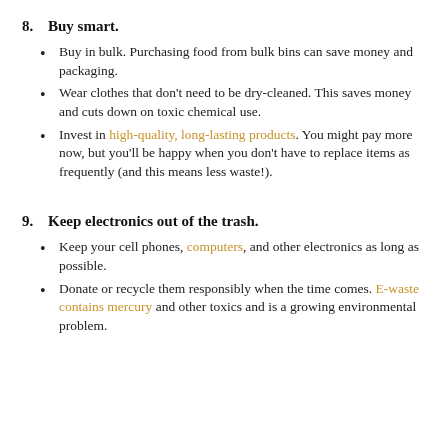8. Buy smart.
Buy in bulk. Purchasing food from bulk bins can save money and packaging.
Wear clothes that don't need to be dry-cleaned. This saves money and cuts down on toxic chemical use.
Invest in high-quality, long-lasting products. You might pay more now, but you'll be happy when you don't have to replace items as frequently (and this means less waste!).
9. Keep electronics out of the trash.
Keep your cell phones, computers, and other electronics as long as possible.
Donate or recycle them responsibly when the time comes. E-waste contains mercury and other toxics and is a growing environmental problem.